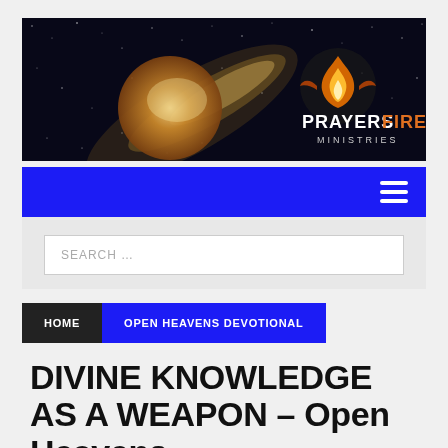[Figure (illustration): PrayersFire Ministries banner with dark starry background, glowing comet/planet, flame logo, text PRAYERSFIRE MINISTRIES]
[Figure (screenshot): Blue navigation bar with hamburger menu icon on the right]
[Figure (screenshot): Search bar with placeholder text SEARCH ...]
HOME
OPEN HEAVENS DEVOTIONAL
DIVINE KNOWLEDGE AS A WEAPON – Open Heavens